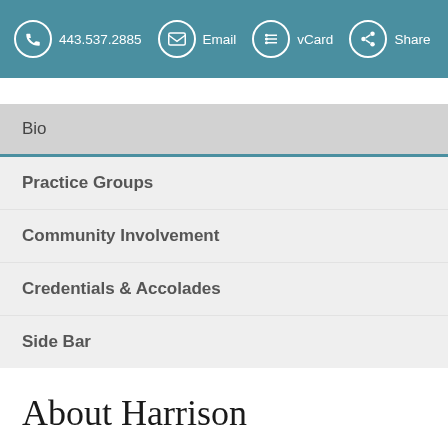443.537.2885  Email  vCard  Share
Bio
Practice Groups
Community Involvement
Credentials & Accolades
Side Bar
About Harrison